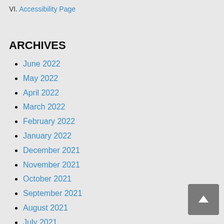VI. Accessibility Page
ARCHIVES
June 2022
May 2022
April 2022
March 2022
February 2022
January 2022
December 2021
November 2021
October 2021
September 2021
August 2021
July 2021
June 2021
May 2021